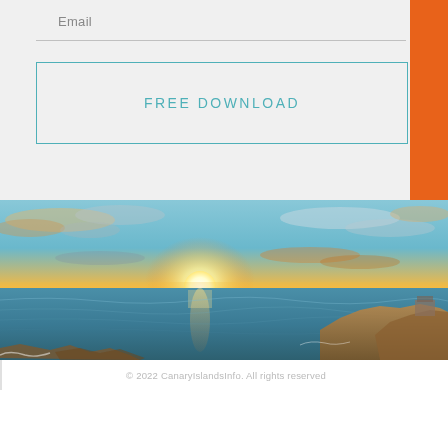Email
FREE DOWNLOAD
[Figure (photo): Panoramic sunset over the ocean with rocky coastline and dramatic orange and blue sky. A bright white sun sits low on the horizon reflecting on the water.]
© 2022 CanaryIslandsInfo. All rights reserved